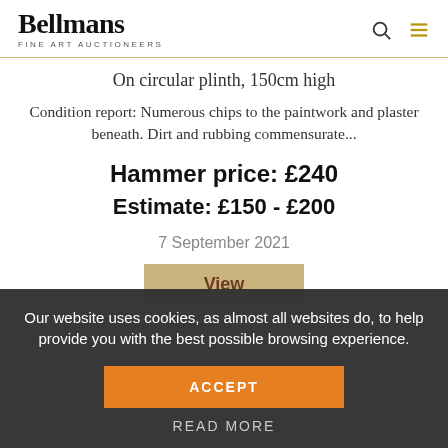Bellmans Fine Art Auctioneers
On circular plinth, 150cm high
Condition report: Numerous chips to the paintwork and plaster beneath. Dirt and rubbing commensurate...
Hammer price: £240
Estimate: £150 - £200
7 September 2021
Our website uses cookies, as almost all websites do, to help provide you with the best possible browsing experience.
ACCEPT
READ MORE